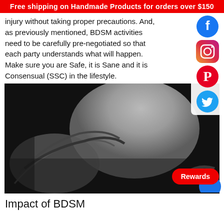Free shipping on Handmade Products for orders over $150
injury without taking proper precautions. And, as previously mentioned, BDSM activities need to be carefully pre-negotiated so that each party understands what will happen.  Make sure you are Safe, it is Sane and it is Consensual (SSC) in the lifestyle.
[Figure (photo): Black and white photograph showing rope bondage]
Impact of BDSM